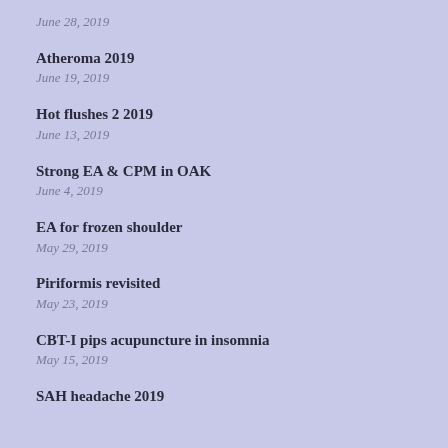June 28, 2019
Atheroma 2019
June 19, 2019
Hot flushes 2 2019
June 13, 2019
Strong EA & CPM in OAK
June 4, 2019
EA for frozen shoulder
May 29, 2019
Piriformis revisited
May 23, 2019
CBT-I pips acupuncture in insomnia
May 15, 2019
SAH headache 2019